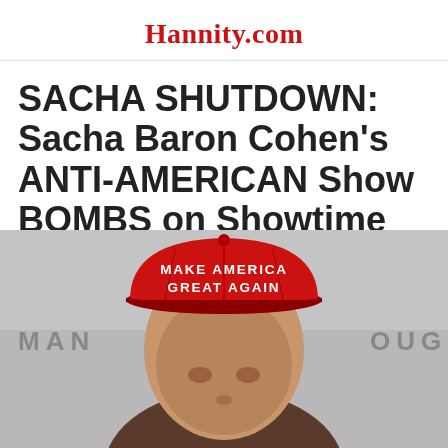Hannity.com
SACHA SHUTDOWN: Sacha Baron Cohen’s ANTI-AMERICAN Show BOMBS on Showtime
[Figure (photo): Person wearing a red Make America Great Again hat, photographed from the shoulders up, with a grey background showing partial text 'MAN' and 'OUG']